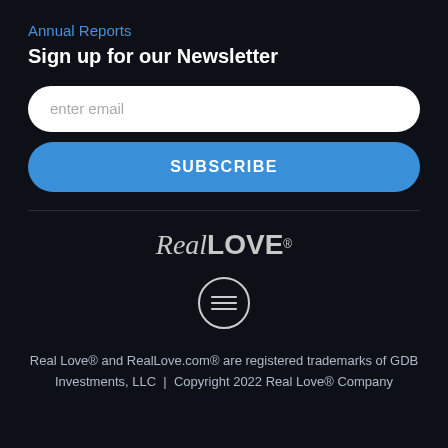Annual Reports
Sign up for our Newsletter
enter email
SUBSCRIBE
[Figure (logo): RealLOVE logo in script and bold sans-serif with registered trademark symbol]
[Figure (other): Circle with three horizontal lines (hamburger/menu icon)]
Real Love® and RealLove.com® are registered trademarks of GDB Investments, LLC | Copyright 2022 Real Love® Company